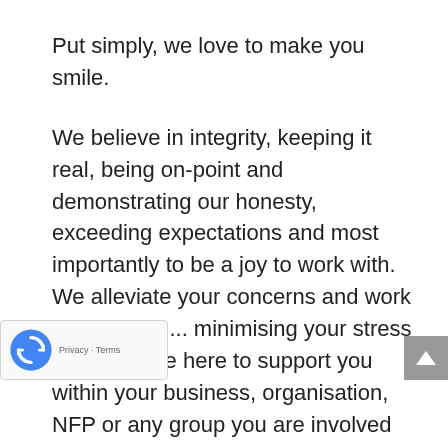Put simply, we love to make you smile.
We believe in integrity, keeping it real, being on-point and demonstrating our honesty, exceeding expectations and most importantly to be a joy to work with. We alleviate your concerns and work hard for you... minimising your stress levels. We're here to support you within your business, organisation, NFP or any group you are involved with. If you are an entrepreneur, solopreneur, small family business, sole trader or just getting started out in business, we are here to provide our very best support to you too. We help